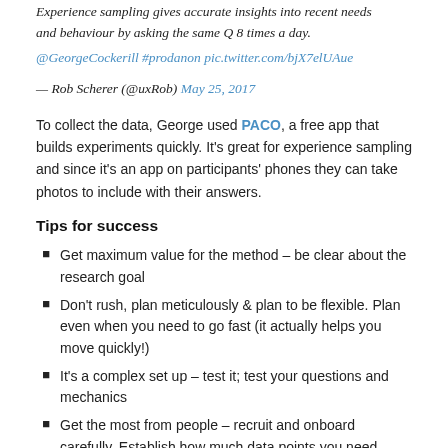Experience sampling gives accurate insights into recent needs and behaviour by asking the same Q 8 times a day. @GeorgeCockerill #prodanon pic.twitter.com/bjX7elUAue
— Rob Scherer (@uxRob) May 25, 2017
To collect the data, George used PACO, a free app that builds experiments quickly. It's great for experience sampling and since it's an app on participants' phones they can take photos to include with their answers.
Tips for success
Get maximum value for the method – be clear about the research goal
Don't rush, plan meticulously & plan to be flexible. Plan even when you need to go fast (it actually helps you move quickly!)
It's a complex set up – test it; test your questions and mechanics
Get the most from people – recruit and onboard carefully. Establish how much data points you need